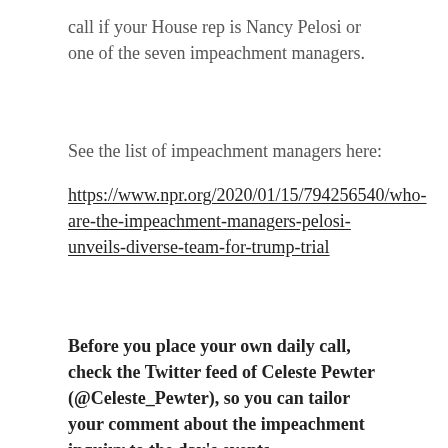call if your House rep is Nancy Pelosi or one of the seven impeachment managers.
See the list of impeachment managers here:
https://www.npr.org/2020/01/15/794256540/who-are-the-impeachment-managers-pelosi-unveils-diverse-team-for-trump-trial
Before you place your own daily call, check the Twitter feed of Celeste Pewter (@Celeste_Pewter), so you can tailor your comment about the impeachment inquiry to the day's events.